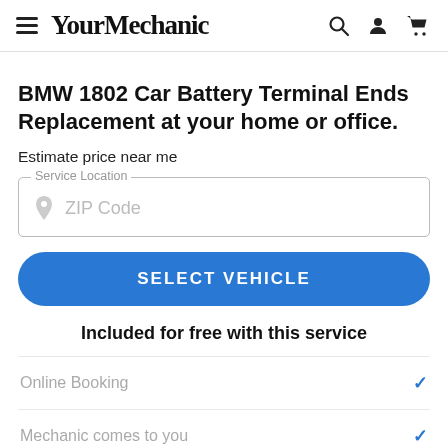YourMechanic
BMW 1802 Car Battery Terminal Ends Replacement at your home or office.
Estimate price near me
Service Location
ZIP Code
SELECT VEHICLE
Included for free with this service
Online Booking
Mechanic comes to you